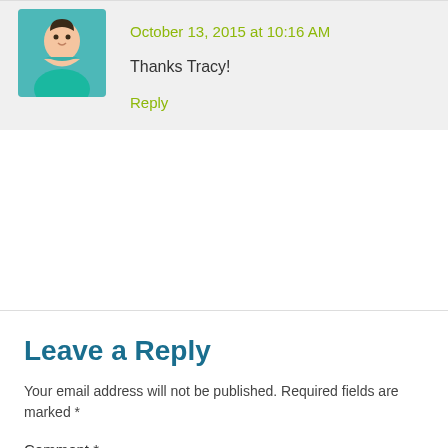October 13, 2015 at 10:16 AM
Thanks Tracy!
Reply
Leave a Reply
Your email address will not be published. Required fields are marked *
Comment *